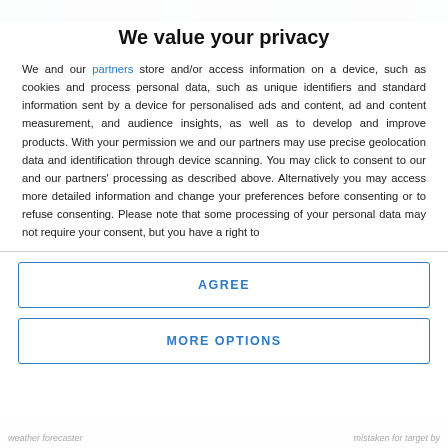[Figure (photo): Blurred background image behind the privacy consent modal dialog]
We value your privacy
We and our partners store and/or access information on a device, such as cookies and process personal data, such as unique identifiers and standard information sent by a device for personalised ads and content, ad and content measurement, and audience insights, as well as to develop and improve products. With your permission we and our partners may use precise geolocation data and identification through device scanning. You may click to consent to our and our partners' processing as described above. Alternatively you may access more detailed information and change your preferences before consenting or to refuse consenting. Please note that some processing of your personal data may not require your consent, but you have a right to
AGREE
MORE OPTIONS